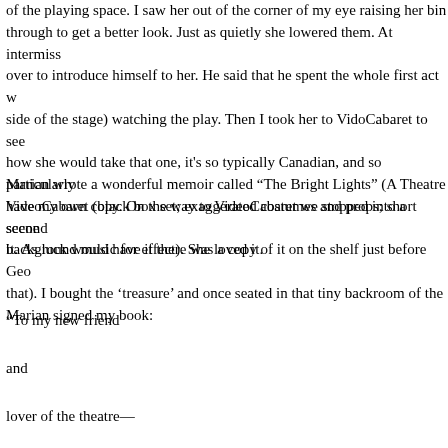of the playing space.  I saw her out of the corner of my eye raising her binoculars through to get a better look. Just as quietly she lowered them. At intermission he came over to introduce himself to her. He said that he spent the whole first act watching her (not the side of the stage) watching the play. Then I took her to VidoCabaret to see how she would take that one, it’s so typically Canadian, and so particularly VideoCabaret (black box set; exaggerated costumes and props; short scenes; background music for effect). She loved it.
Marian wrote a wonderful memoir called “The Bright Lights”  (A Theatre Life) and I don’t have my own copy. On the way to VideoCabaret we stopped into a second-hand bookshop to look for it. As luck would have it there was a copy of it on the shelf just before Geoff Pevere spotted it (I treasure that).  I bought the ‘treasure’ and once seated in that tiny backroom of the Cabaret theatre, Marian signed my book:
“To my new friend
and
lover of the theatre—